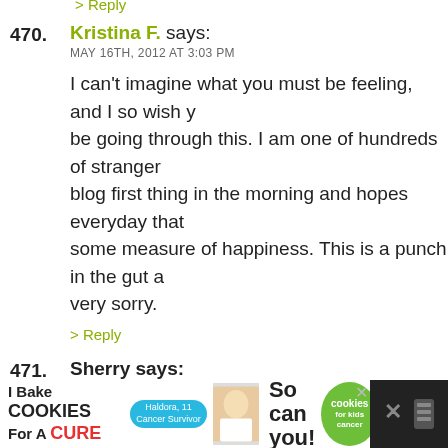> Reply
470. Kristina F. says:
MAY 16TH, 2012 AT 3:03 PM
I can't imagine what you must be feeling, and I so wish you didn't have to be going through this. I am one of hundreds of strangers who checks your blog first thing in the morning and hopes everyday that you are finding some measure of happiness. This is a punch in the gut and I am very sorry.
> Reply
471. Sherry says:
MAY 16TH, 2012 AT 3:07 PM
Oh dear Heather, I'm sorry. Much love to you.
> Reply
472. Kristen says:
MAY 16TH, 2012 AT 3:08 PM
[Figure (infographic): Advertisement banner: I Bake COOKIES For A CURE with Haldora, 11 Cancer Survivor badge, photo of girl, 'So can you!' text, and cookies for kids cancer logo]